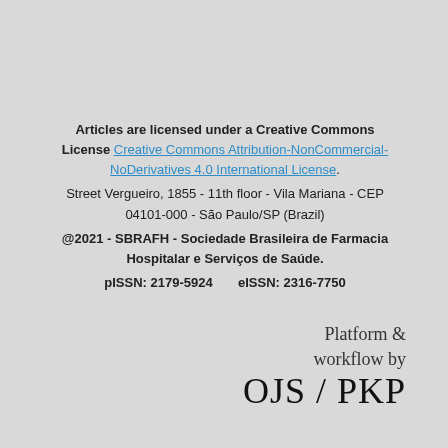Articles are licensed under a Creative Commons License Creative Commons Attribution-NonCommercial-NoDerivatives 4.0 International License. Street Vergueiro, 1855 - 11th floor  - Vila Mariana - CEP 04101-000 - São Paulo/SP (Brazil) @2021 - SBRAFH - Sociedade Brasileira de Farmacia Hospitalar e Serviços de Saúde. pISSN: 2179-5924       eISSN: 2316-7750
Platform & workflow by OJS / PKP